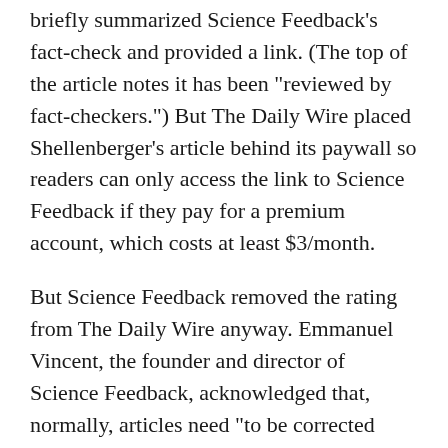briefly summarized Science Feedback's fact-check and provided a link. (The top of the article notes it has been "reviewed by fact-checkers.") But The Daily Wire placed Shellenberger's article behind its paywall so readers can only access the link to Science Feedback if they pay for a premium account, which costs at least $3/month.
But Science Feedback removed the rating from The Daily Wire anyway. Emmanuel Vincent, the founder and director of Science Feedback, acknowledged that, normally, articles need "to be corrected with a prominent correction notice" to have a rating removed. Vincent said that, in this case, the link appended to the end of the article was "barely sufficient" because the initial rating was "mostly false."